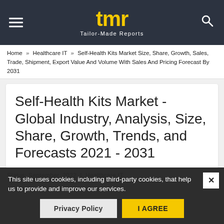[Figure (logo): TMR Tailor-Made Reports logo with yellow tmr letters on dark navy background, hamburger menu icon on left, search icon on right]
Home » Healthcare IT » Self-Health Kits Market Size, Share, Growth, Sales, Trade, Shipment, Export Value And Volume With Sales And Pricing Forecast By 2031
Self-Health Kits Market - Global Industry, Analysis, Size, Share, Growth, Trends, and Forecasts 2021 - 2031
Status: September, 2022  |  Healthcare IT
This site uses cookies, including third-party cookies, that help us to provide and improve our services.